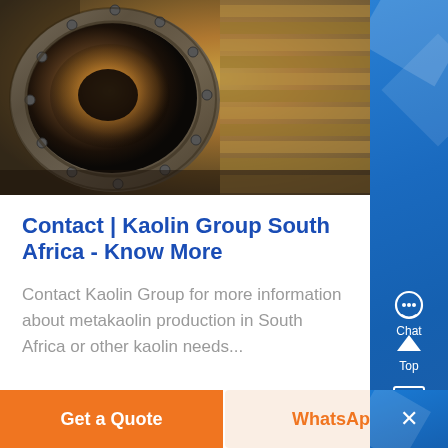[Figure (photo): Industrial rotary kiln or furnace equipment — a large circular metal opening/tunnel with heavy flanged edges and bolts, showing orange-brown heated interior, set against a blurred industrial background]
Contact | Kaolin Group South Africa - Know More
Contact Kaolin Group for more information about metakaolin production in South Africa or other kaolin needs...